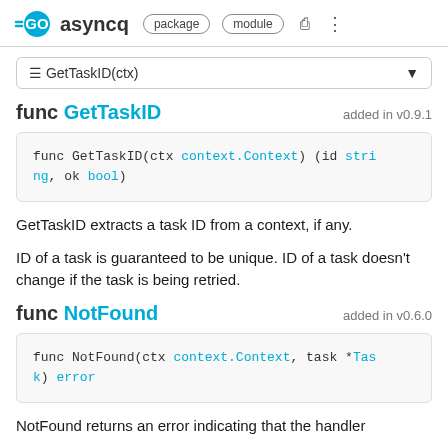GO asyncq  package  module
≡ GetTaskID(ctx)
func GetTaskID   added in v0.9.1
GetTaskID extracts a task ID from a context, if any.
ID of a task is guaranteed to be unique. ID of a task doesn't change if the task is being retried.
func NotFound   added in v0.6.0
NotFound returns an error indicating that the handler